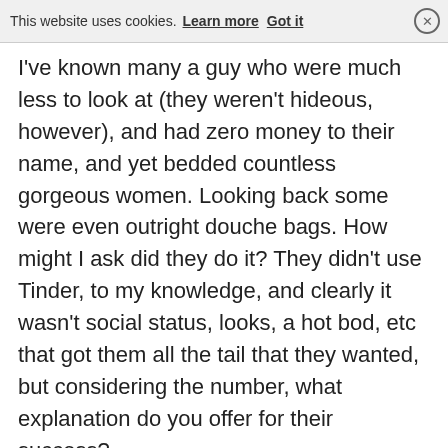This website uses cookies. Learn more  Got it  ×
I've known many a guy who were much less to look at (they weren't hideous, however), and had zero money to their name, and yet bedded countless gorgeous women. Looking back some were even outright douche bags. How might I ask did they do it? They didn't use Tinder, to my knowledge, and clearly it wasn't social status, looks, a hot bod, etc that got them all the tail that they wanted, but considering the number, what explanation do you offer for their success?
And I'm not trying to be contradictory with you here, I'm only expressing what I have seen and know to have happened. Once you are around such guys, you clearly realize from their success